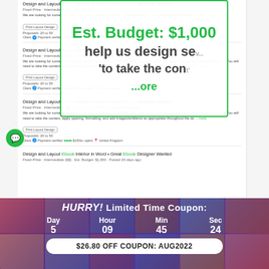[Figure (screenshot): Screenshot of a freelance job listing platform (Upwork-style) showing multiple listings for 'Design and Layout Ebook Interior in Word - Great Ebook Designer Wanted', each with Fixed-Price Intermediate level, Est. Budget $1,000, posted 29 days ago, with Print Layout Design tag, Proposals 20 to 50, Client payment verified, 5 green stars, $100k+ spent, United Kingdom. A tooltip overlay shows green-bordered popup with bold text about helping design ebooks.]
HURRY! Limited Time Coupon:
Day 5   Hour 09   Min 45   Sec 24
$26.80 OFF COUPON: AUG2022